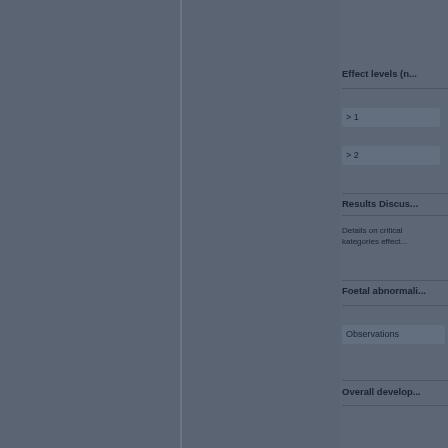Effect levels (n...
> 1
> 2
Results Discus...
Details on critical... kategorie effect...
Foetal abnormali...
Observations
Overall develop...